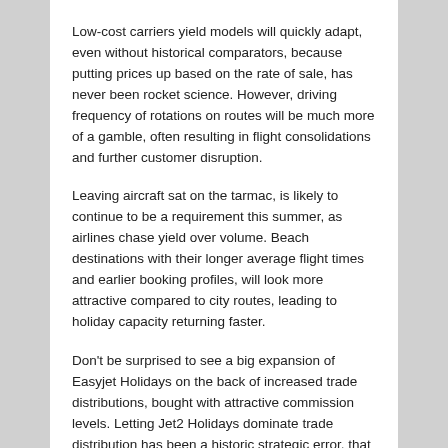Low-cost carriers yield models will quickly adapt, even without historical comparators, because putting prices up based on the rate of sale, has never been rocket science. However, driving frequency of rotations on routes will be much more of a gamble, often resulting in flight consolidations and further customer disruption.
Leaving aircraft sat on the tarmac, is likely to continue to be a requirement this summer, as airlines chase yield over volume. Beach destinations with their longer average flight times and earlier booking profiles, will look more attractive compared to city routes, leading to holiday capacity returning faster.
Don't be surprised to see a big expansion of Easyjet Holidays on the back of increased trade distributions, bought with attractive commission levels. Letting Jet2 Holidays dominate trade distribution has been a historic strategic error, that current Easyjet CEO Johan Lundgren with his tour operating background, will not allow to